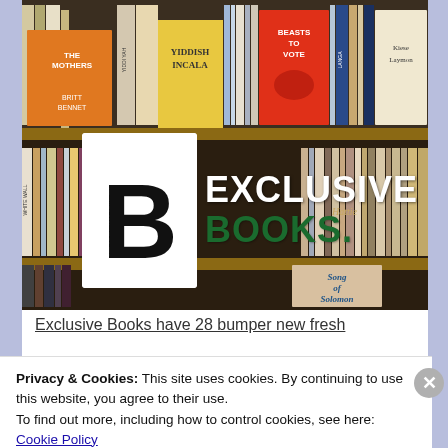[Figure (photo): Exclusive Books store banner image: bookshelves filled with books in the background with the Exclusive Books logo (white B. with 'EXCLUSIVE BOOKS' text) overlaid in the center.]
Exclusive Books have 28 bumper new fresh
Privacy & Cookies: This site uses cookies. By continuing to use this website, you agree to their use.
To find out more, including how to control cookies, see here:
Cookie Policy
Close and accept